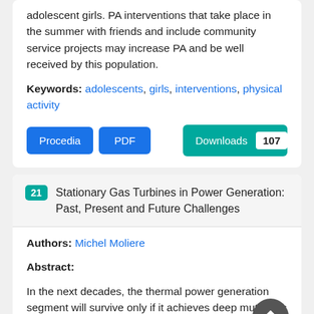adolescent girls. PA interventions that take place in the summer with friends and include community service projects may increase PA and be well received by this population.
Keywords: adolescents, girls, interventions, physical activity
Procedia | PDF | Downloads 107
21 Stationary Gas Turbines in Power Generation: Past, Present and Future Challenges
Authors: Michel Moliere
Abstract:
In the next decades, the thermal power generation segment will survive only if it achieves deep mutations